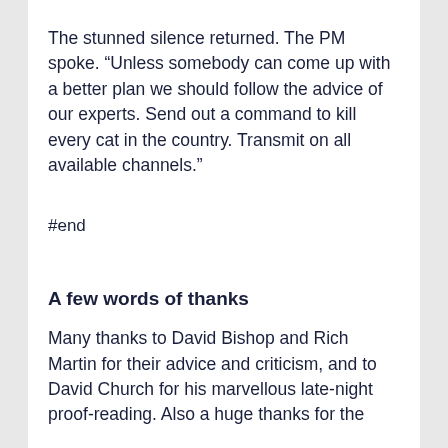The stunned silence returned. The PM spoke. “Unless somebody can come up with a better plan we should follow the advice of our experts. Send out a command to kill every cat in the country. Transmit on all available channels.”
#end
A few words of thanks
Many thanks to David Bishop and Rich Martin for their advice and criticism, and to David Church for his marvellous late-night proof-reading. Also a huge thanks for the